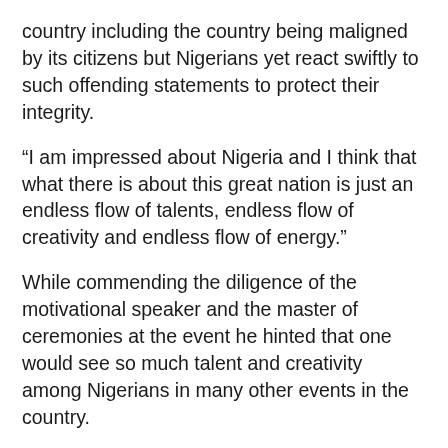country including the country being maligned by its citizens but Nigerians yet react swiftly to such offending statements to protect their integrity.
“I am impressed about Nigeria and I think that what there is about this great nation is just an endless flow of talents, endless flow of creativity and endless flow of energy.”
While commending the diligence of the motivational speaker and the master of ceremonies at the event he hinted that one would see so much talent and creativity among Nigerians in many other events in the country.
“I am extremely proud of our country and I very strongly believe that our country is certainly going to be a great nation.
“It is not going to depend on many of us but on a lot of very young people who are multi-tasking, creative and able to stick to it a long time,” he said.